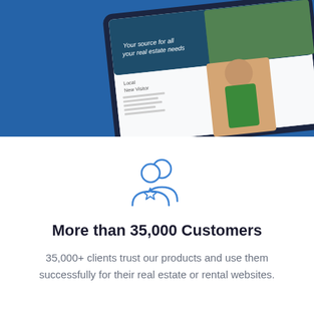[Figure (screenshot): Top half: blue background with a tablet mockup showing a real estate website with a photo of a house with gates, text 'Your source for all your real estate needs', and a woman in a green outfit with arms crossed.]
[Figure (illustration): Blue outline icon of two people (users/customers) with a star badge, representing customers.]
More than 35,000 Customers
35,000+ clients trust our products and use them successfully for their real estate or rental websites.